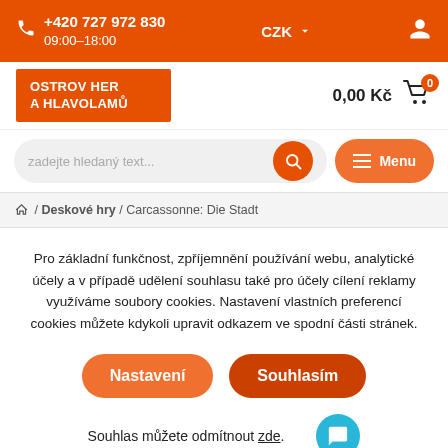+420 727 972 830 09:00-18:00 CZK
[Figure (logo): OSTROV HER A HLAVOLAMŮ logo on orange background]
0,00 Kč
zadejte hledaný text...
Menu
/ Deskové hry / Carcassonne: Die Stadt
Pro základní funkčnost, zpříjemnění používání webu, analytické účely a v případě udělení souhlasu také pro účely cílení reklamy využíváme soubory cookies. Nastavení vlastních preferencí cookies můžete kdykoli upravit odkazem ve spodní části stránek.
Nastavení
Souhlasím
Souhlas můžete odmítnout zde.